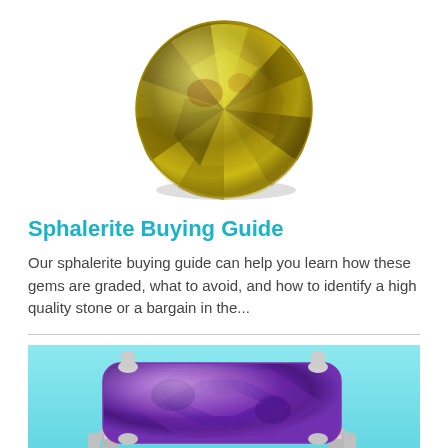[Figure (photo): Round faceted yellow-green sphalerite gemstone viewed from above, showing brilliant cut facets with yellow and brown tones]
Sphalerite Buying Guide
Our sphalerite buying guide can help you learn how these gems are graded, what to avoid, and how to identify a high quality stone or a bargain in the...
[Figure (photo): Purple amethyst gemstone pendant set in silver prong setting, displayed on a light blue background, partially cropped]